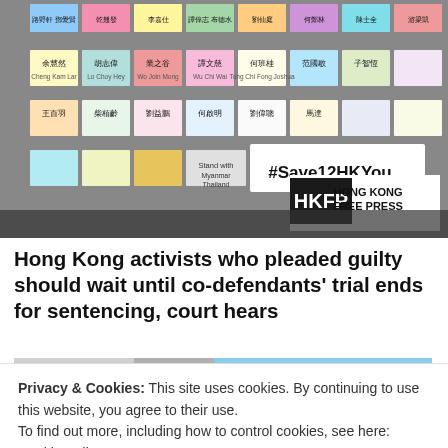[Figure (photo): Colorful sticky notes with Chinese and English text written on them, covering a wall/railing structure. A sign reading '#Save12HKYouth' is visible. HKFP (Hong Kong Free Press) logo badge is in the bottom-right corner of the photo.]
Hong Kong activists who pleaded guilty should wait until co-defendants' trial ends for sentencing, court hears
[Figure (photo): Partial photo of a building exterior, partially obscured by the cookie consent banner.]
Privacy & Cookies: This site uses cookies. By continuing to use this website, you agree to their use.
To find out more, including how to control cookies, see here: Cookie Policy
Close and accept